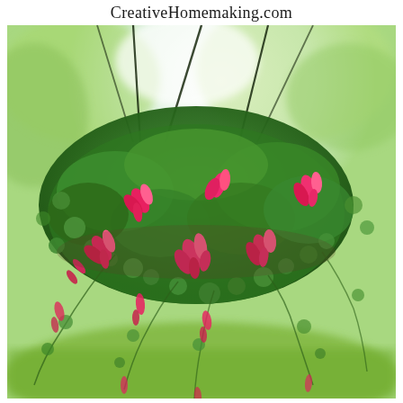CreativeHomemaking.com
[Figure (photo): A hanging basket planter with lush green foliage and bright pink/red fuchsia flowers hanging from dark wire chains against a bright outdoor background with blurred trees and grass.]